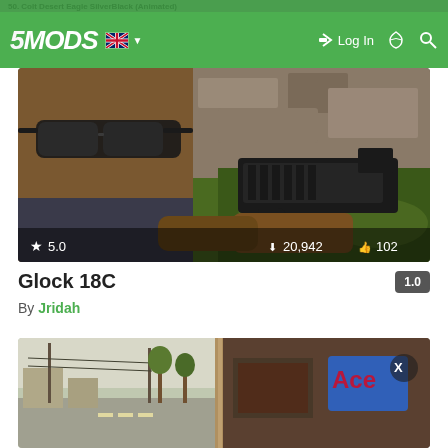50. Colt Desert Eagle SilverBlack (Animated)
[Figure (screenshot): Navigation bar of 5MODS website with logo, UK flag, Log In button, dark mode and search icons on green background]
[Figure (screenshot): GTA5 mod screenshot showing a character in sunglasses holding a Glock 18C pistol with rock and foliage background. Stats: rating 5.0, downloads 20,942, likes 102]
Glock 18C
By Jridah
[Figure (screenshot): GTA5 street scene split view with urban street on left and store interior on right, showing an X close button]